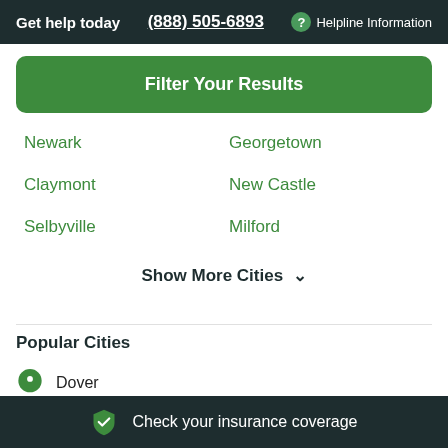Get help today  (888) 505-6893  Helpline Information
Filter Your Results
Newark
Georgetown
Claymont
New Castle
Selbyville
Milford
Show More Cities
Popular Cities
Dover
Check your insurance coverage